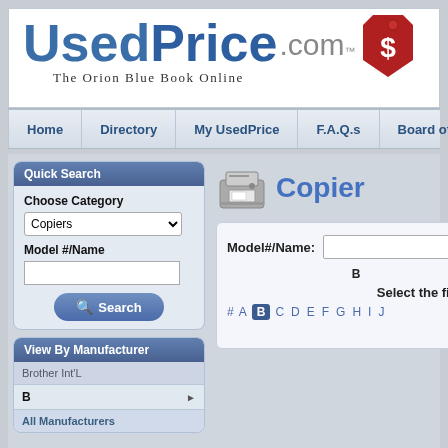[Figure (logo): UsedPrice.com logo with 'The Orion Blue Book Online' tagline and a red price tag icon with dollar sign]
Home | Directory | My UsedPrice | F.A.Q.s | Board of A
Copier
Quick Search — Choose Category: Copiers, Model #/Name, Search button
View By Manufacturer — Brother Int'L, B, All Manufacturers
Model#/Name: [input field]
Select the first let
# A B C D E F G H I J
B